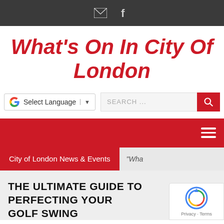Email and Facebook icons in top bar
What's On In City Of London
Select Language
SEARCH ...
City of London News & Events
“Wha
THE ULTIMATE GUIDE TO PERFECTING YOUR GOLF SWING